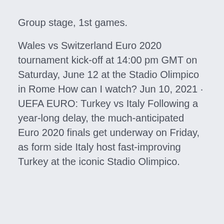Group stage, 1st games.
Wales vs Switzerland Euro 2020 tournament kick-off at 14:00 pm GMT on Saturday, June 12 at the Stadio Olimpico in Rome How can I watch? Jun 10, 2021 · UEFA EURO: Turkey vs Italy Following a year-long delay, the much-anticipated Euro 2020 finals get underway on Friday, as form side Italy host fast-improving Turkey at the iconic Stadio Olimpico.